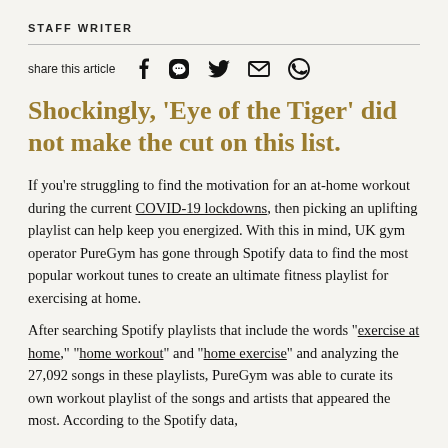STAFF WRITER
share this article
Shockingly, ‘Eye of the Tiger’ did not make the cut on this list.
If you’re struggling to find the motivation for an at-home workout during the current COVID-19 lockdowns, then picking an uplifting playlist can help keep you energized. With this in mind, UK gym operator PureGym has gone through Spotify data to find the most popular workout tunes to create an ultimate fitness playlist for exercising at home.
After searching Spotify playlists that include the words “exercise at home,” “home workout” and “home exercise” and analyzing the 27,092 songs in these playlists, PureGym was able to curate its own workout playlist of the songs and artists that appeared the most. According to the Spotify data,